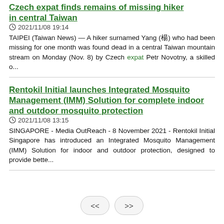Czech expat finds remains of missing hiker in central Taiwan
2021/11/08 19:14
TAIPEI (Taiwan News) — A hiker surnamed Yang (楊) who had been missing for one month was found dead in a central Taiwan mountain stream on Monday (Nov. 8) by Czech expat Petr Novotny, a skilled o...
Rentokil Initial launches Integrated Mosquito Management (IMM) Solution for complete indoor and outdoor mosquito protection
2021/11/08 13:15
SINGAPORE - Media OutReach - 8 November 2021 - Rentokil Initial Singapore has introduced an Integrated Mosquito Management (IMM) Solution for indoor and outdoor protection, designed to provide bette...